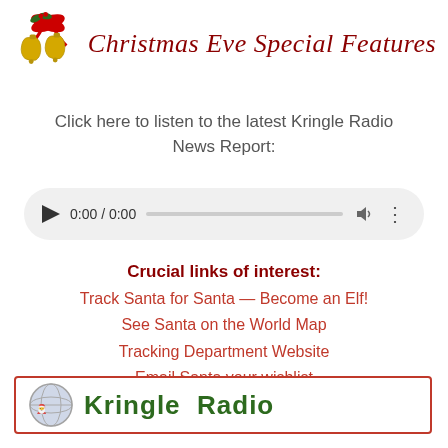Christmas Eve Special Features
Click here to listen to the latest Kringle Radio News Report:
[Figure (other): Audio player widget showing 0:00 / 0:00 with play button, progress bar, volume and menu icons]
Crucial links of interest:
Track Santa for Santa — Become an Elf!
See Santa on the World Map
Tracking Department Website
Email Santa your wishlist
[Figure (logo): Kringle Radio logo with globe icon and green bold text 'Kringle Radio' inside a red-bordered box]